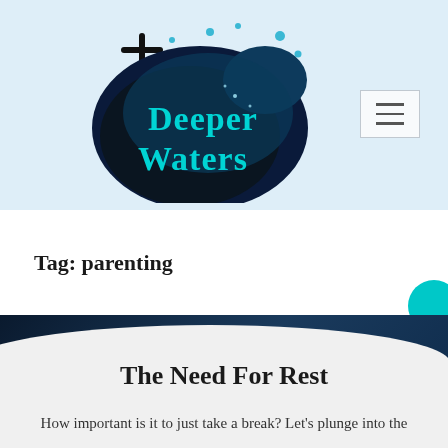[Figure (logo): Deeper Waters logo: dark navy blob shape with underwater photo, teal text reading 'Deeper Waters', black cross symbol above left, water droplets scattered around]
[Figure (other): Hamburger menu button: three horizontal lines inside a light bordered rectangle]
Tag: parenting
The Need For Rest
How important is it to just take a break? Let's plunge into the